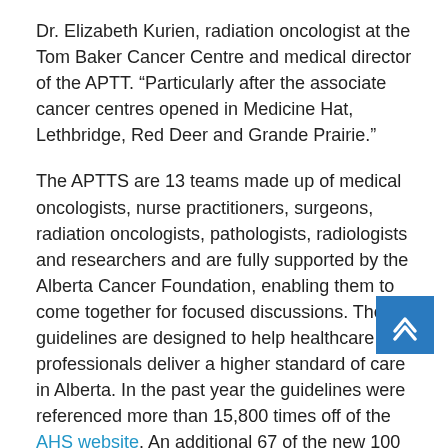Dr. Elizabeth Kurien, radiation oncologist at the Tom Baker Cancer Centre and medical director of the APTT. “Particularly after the associate cancer centres opened in Medicine Hat, Lethbridge, Red Deer and Grande Prairie.”
The APTTS are 13 teams made up of medical oncologists, nurse practitioners, surgeons, radiation oncologists, pathologists, radiologists and researchers and are fully supported by the Alberta Cancer Foundation, enabling them to come together for focused discussions. The guidelines are designed to help healthcare professionals deliver a higher standard of care in Alberta. In the past year the guidelines were referenced more than 15,800 times off of the AHS website. An additional 67 of the new 100 guidelines, which are also located on the U.S. department of Health and Human Services National Guidelines Clearinghouse website, were accessed more than 280,000 times.
The former Alberta Cancer Board created GURU in 2006, in support of the APTT.